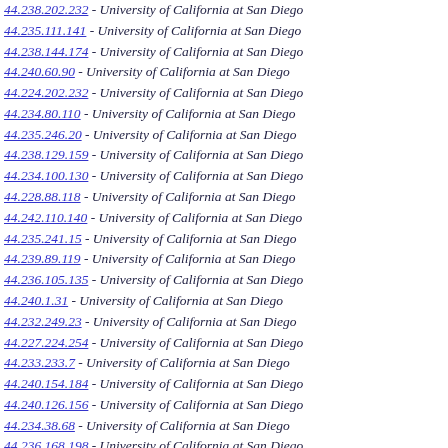44.238.202.232 - University of California at San Diego
44.235.111.141 - University of California at San Diego
44.238.144.174 - University of California at San Diego
44.240.60.90 - University of California at San Diego
44.224.202.232 - University of California at San Diego
44.234.80.110 - University of California at San Diego
44.235.246.20 - University of California at San Diego
44.238.129.159 - University of California at San Diego
44.234.100.130 - University of California at San Diego
44.228.88.118 - University of California at San Diego
44.242.110.140 - University of California at San Diego
44.235.241.15 - University of California at San Diego
44.239.89.119 - University of California at San Diego
44.236.105.135 - University of California at San Diego
44.240.1.31 - University of California at San Diego
44.232.249.23 - University of California at San Diego
44.227.224.254 - University of California at San Diego
44.233.233.7 - University of California at San Diego
44.240.154.184 - University of California at San Diego
44.240.126.156 - University of California at San Diego
44.234.38.68 - University of California at San Diego
44.236.168.198 - University of California at San Diego
44.227.106.136 - University of California at San Diego
44.238.154.184 - University of California at San Diego
44.241.184.214 - University of California at San Diego
44.240.159.189 - University of California at San Diego
44.230.76.106 - University of California at San Diego
44.230.86.116 - University of California at San Diego
44.236.224.254 - University of California at San Diego
44.234.88.119 - University of California at San Diego